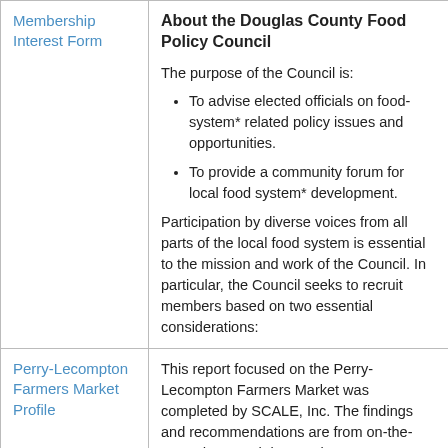Membership Interest Form
About the Douglas County Food Policy Council
The purpose of the Council is:
To advise elected officials on food-system* related policy issues and opportunities.
To provide a community forum for local food system* development.
Participation by diverse voices from all parts of the local food system is essential to the mission and work of the Council. In particular, the Council seeks to recruit members based on two essential considerations:
Perry-Lecompton Farmers Market Profile
This report focused on the Perry-Lecompton Farmers Market was completed by SCALE, Inc. The findings and recommendations are from on-the-ground research in Douglas County